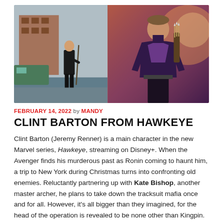[Figure (photo): Two images of Jeremy Renner as Clint Barton/Hawkeye: left side shows him in casual black clothing outdoors in a street scene; right side shows him in full Hawkeye purple superhero costume with a quiver of arrows, against a fiery dramatic background.]
FEBRUARY 14, 2022 by MANDY
CLINT BARTON FROM HAWKEYE
Clint Barton (Jeremy Renner) is a main character in the new Marvel series, Hawkeye, streaming on Disney+. When the Avenger finds his murderous past as Ronin coming to haunt him, a trip to New York during Christmas turns into confronting old enemies. Reluctantly partnering up with Kate Bishop, another master archer, he plans to take down the tracksuit mafia once and for all. However, it's all bigger than they imagined, for the head of the operation is revealed to be none other than Kingpin.